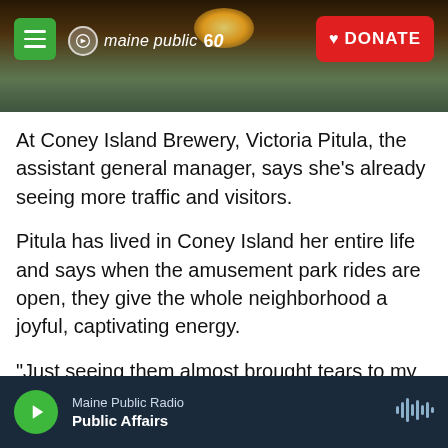[Figure (photo): Maine Public 60th anniversary header banner with sunset/sunrise landscape photo showing hills and water, with hamburger menu button, Maine Public logo, and red DONATE button]
At Coney Island Brewery, Victoria Pitula, the assistant general manager, says she's already seeing more traffic and visitors.
Pitula has lived in Coney Island her entire life and says when the amusement park rides are open, they give the whole neighborhood a joyful, captivating energy.
"Just seeing them almost brought tears to my eyes. Like you can see the Thunderbolt is right behind us and we hear it like come by and the screams of people. That's what gives us energy
Maine Public Radio | Public Affairs